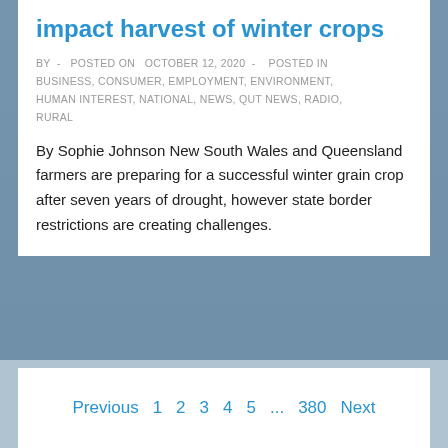impact harvest of winter crops
BY - POSTED ON OCTOBER 12, 2020 - POSTED IN BUSINESS, CONSUMER, EMPLOYMENT, ENVIRONMENT, HUMAN INTEREST, NATIONAL, NEWS, QUT NEWS, RADIO, RURAL
By Sophie Johnson New South Wales and Queensland farmers are preparing for a successful winter grain crop after seven years of drought, however state border restrictions are creating challenges.
Previous 1 2 3 4 5 ... 380 Next